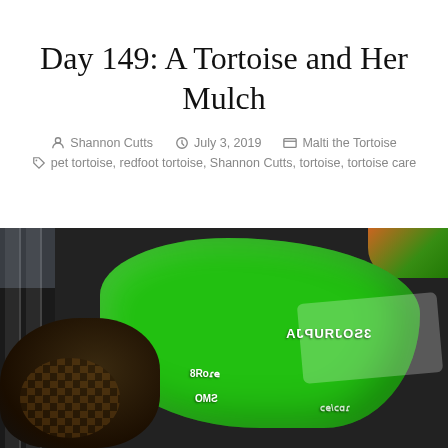Day 149: A Tortoise and Her Mulch
Shannon Cutts  July 3, 2019  Malti the Tortoise
pet tortoise, redfoot tortoise, Shannon Cutts, tortoise, tortoise care
[Figure (photo): A tortoise next to a green all-purpose mulch bag, photographed from above. The bag is large and bright green with white label text. The tortoise is dark-shelled, visible on the lower left. Dark vertical bars (window frame or fence) are on the left side.]